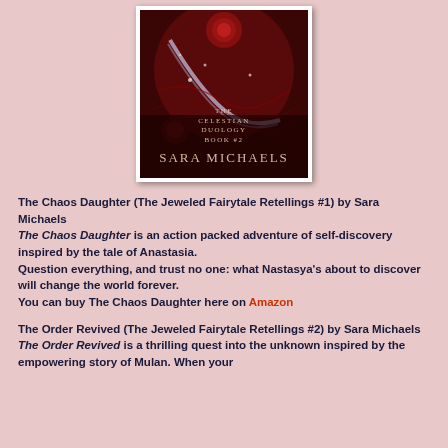[Figure (illustration): Book cover for a fantasy novel by Sara Michaels. Dark red/maroon background with swirling patterns, roses, and glowing elements. Text on cover reads 'THE CELESTIAN DUOLOGY BOOK #2' and 'SARA MICHAELS' at bottom.]
The Chaos Daughter (The Jeweled Fairytale Retellings #1) by Sara Michaels
The Chaos Daughter is an action packed adventure of self-discovery inspired by the tale of Anastasia.
Question everything, and trust no one: what Nastasya's about to discover will change the world forever.
You can buy The Chaos Daughter here on Amazon
The Order Revived (The Jeweled Fairytale Retellings #2) by Sara Michaels
The Order Revived is a thrilling quest into the unknown inspired by the empowering story of Mulan. When your